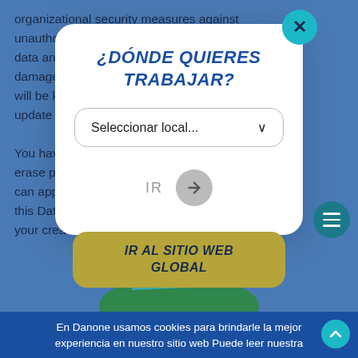organizational security measures against unauthorized [access/processing/loss of] personal data and [accidental/unlawful/unauthorized] [destruction of, or damage to,] [or alteration of] [your personal] information will be ke[pt]... the last update of[...] account.
[Figure (screenshot): Modal dialog with title '¿DÓNDE QUIERES TRABAJAR?' and a dropdown 'Seleccionar local...' with an IR button, overlaid on a blue background website. Close button (X) in teal top-right. Globe illustration at bottom.]
¿DÓNDE QUIERES TRABAJAR?
Seleccionar local...
IR
IR AL SITIO WEB GLOBAL
You have [the right to access, correct, update, or] erase pe[rsonal data] [provided by/stored about] us. You can apply[...] [in accord]ance of this Data [...] [only i]n your crea[...]
En Danone usamos cookies para brindarle la mejor experiencia en nuestro sitio web Puede leer nuestra